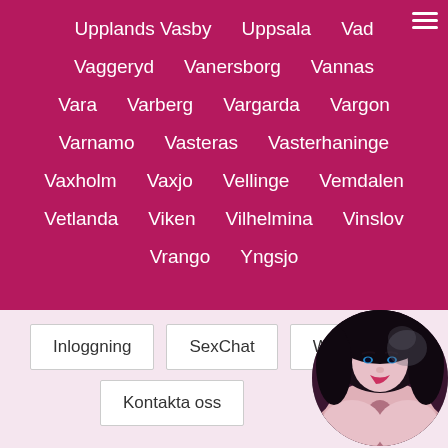Upplands Vasby
Uppsala
Vad
Vaggeryd
Vanersborg
Vannas
Vara
Varberg
Vargarda
Vargon
Varnamo
Vasteras
Vasterhaninge
Vaxholm
Vaxjo
Vellinge
Vemdalen
Vetlanda
Viken
Vilhelmina
Vinslov
Vrango
Yngsjo
Inloggning
SexChat
W...
Kontakta oss
[Figure (photo): Circular avatar photo of a dark-haired woman]